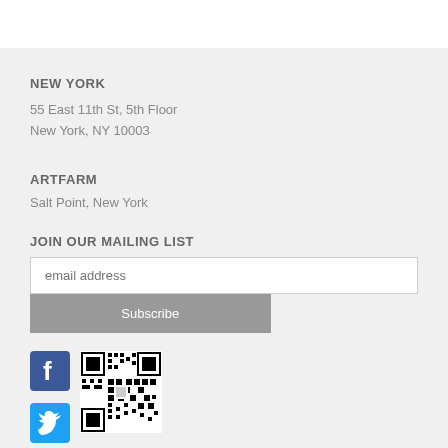NEW YORK
55 East 11th St, 5th Floor
New York, NY 10003
ARTFARM
Salt Point, New York
JOIN OUR MAILING LIST
email address
Subscribe
[Figure (logo): Facebook logo icon (blue square with white F)]
[Figure (other): QR code black and white matrix barcode]
[Figure (logo): Twitter logo icon (blue square with white bird)]